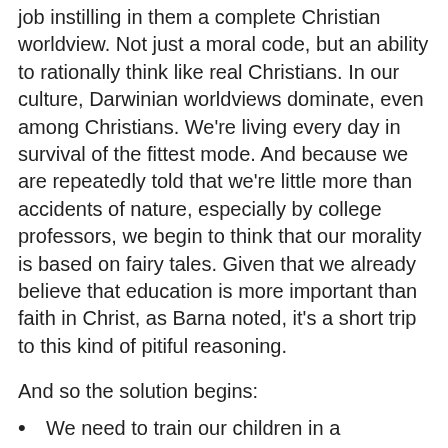job instilling in them a complete Christian worldview. Not just a moral code, but an ability to rationally think like real Christians. In our culture, Darwinian worldviews dominate, even among Christians. We're living every day in survival of the fittest mode. And because we are repeatedly told that we're little more than accidents of nature, especially by college professors, we begin to think that our morality is based on fairy tales. Given that we already believe that education is more important than faith in Christ, as Barna noted, it's a short trip to this kind of pitiful reasoning.
And so the solution begins:
We need to train our children in a comprehensive Christian worldview.
We need to start developing alternative means of post-secondary education.